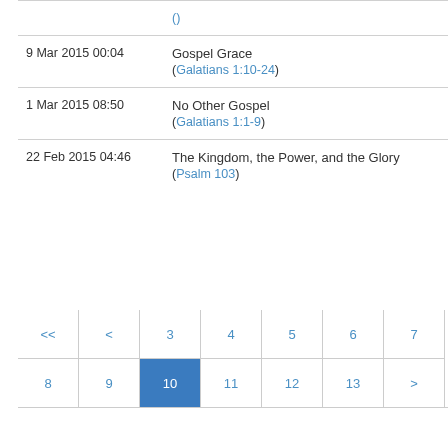| Date | Title | Link |
| --- | --- | --- |
|  | (partial top row) | S |
| 9 Mar 2015 00:04 | Gospel Grace
(Galatians 1:10-24) | S |
| 1 Mar 2015 08:50 | No Other Gospel
(Galatians 1:1-9) | S |
| 22 Feb 2015 04:46 | The Kingdom, the Power, and the Glory
(Psalm 103) | S |
Pagination: << < 3 4 5 6 7 8 9 [10] 11 | 12 13 > >>